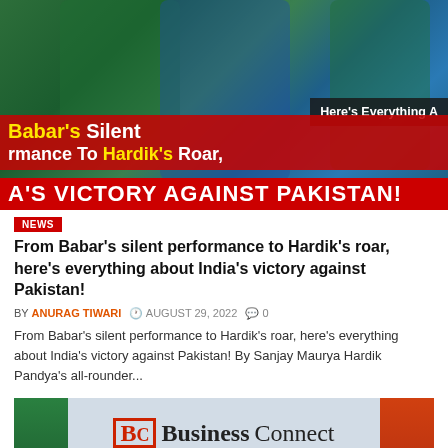[Figure (photo): Cricket match photo showing India vs Pakistan players, with red overlay banners. Text overlay reads: Babar's Silent [performance] To Hardik's Roar, Here's Everything [A...] / A'S VICTORY AGAINST PAKISTAN]
From Babar's silent performance to Hardik's roar, here's everything about India's victory against Pakistan!
BY ANURAG TIWARI  AUGUST 29, 2022  0
From Babar's silent performance to Hardik's roar, here's everything about India's victory against Pakistan! By Sanjay Maurya Hardik Pandya's all-rounder...
[Figure (photo): BC Business Connect advertisement banner with green and orange sides and grey center showing logo and tagline INSPIRING BUSINESS COMMUNITY]